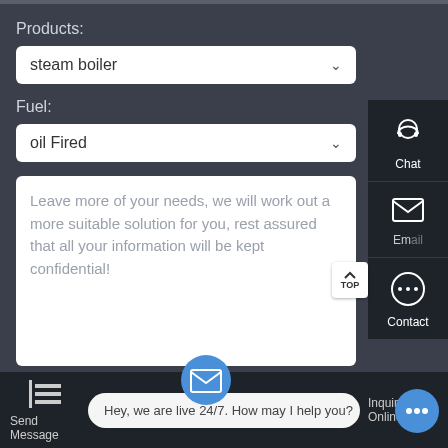Products:
steam boiler
Fuel:
oil Fired
Leave more of your needs, we will work out a more suitable solution for you, rest assured that all your information will be kept confidential!
[Figure (screenshot): Right sidebar with Chat, Email, and Contact buttons]
Chat
Email
Contact
Send Message
Hey, we are live 24/7. How may I help you?
Inquiry Online